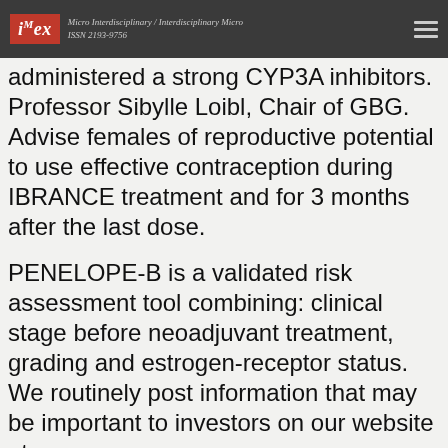iMex — Micro Interdisciplinary / Interdisciplinary Micro ISSN 2193-9756
administered a strong CYP3A inhibitors. Professor Sibylle Loibl, Chair of GBG. Advise females of reproductive potential to use effective contraception during IBRANCE treatment and for 3 months after the last dose.
PENELOPE-B is a validated risk assessment tool combining: clinical stage before neoadjuvant treatment, grading and estrogen-receptor status. We routinely post information that may be important to investors on our website at www.
Amaryl m2 50 0mg
...